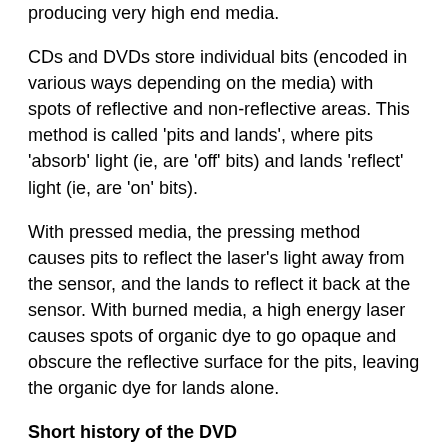wasn't until around 2001 with companies started producing very high end media.
CDs and DVDs store individual bits (encoded in various ways depending on the media) with spots of reflective and non-reflective areas. This method is called 'pits and lands', where pits 'absorb' light (ie, are 'off' bits) and lands 'reflect' light (ie, are 'on' bits).
With pressed media, the pressing method causes pits to reflect the laser's light away from the sensor, and the lands to reflect it back at the sensor. With burned media, a high energy laser causes spots of organic dye to go opaque and obscure the reflective surface for the pits, leaving the organic dye for lands alone.
Short history of the DVD
While burning was becoming popular in the late 90s, so was playing high quality video on DVDs. Storing almost